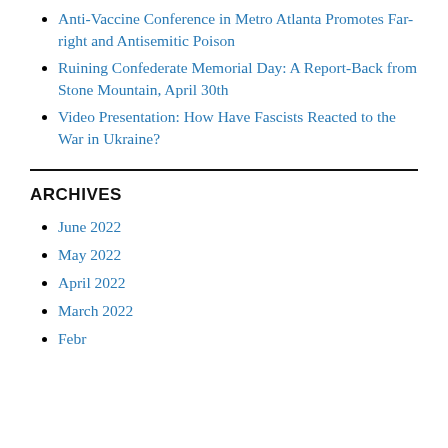Anti-Vaccine Conference in Metro Atlanta Promotes Far-right and Antisemitic Poison
Ruining Confederate Memorial Day: A Report-Back from Stone Mountain, April 30th
Video Presentation: How Have Fascists Reacted to the War in Ukraine?
ARCHIVES
June 2022
May 2022
April 2022
March 2022
Febr…